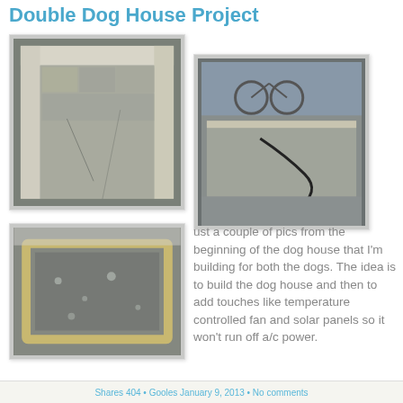Double Dog House Project
[Figure (photo): Dog house floor panel with wooden frame and OSB board resting on workshop surface]
[Figure (photo): Flat OSB board panel on concrete floor with a power cord on top]
[Figure (photo): Wooden rectangular frame lying on concrete floor, possibly base frame for dog house]
ust a couple of pics from the beginning of the dog house that I'm building for both the dogs. The idea is to build the dog house and then to add touches like temperature controlled fan and solar panels so it won't run off a/c power.
Shares 404 • Gooles January 9, 2013 • No comments